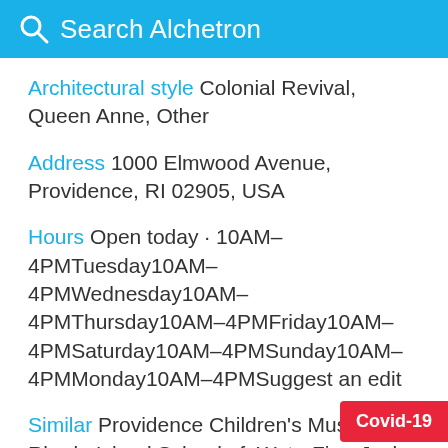Search Alchetron
Architectural style  Colonial Revival, Queen Anne, Other
Address  1000 Elmwood Avenue, Providence, RI 02905, USA
Hours  Open today · 10AM–4PMTuesday10AM–4PMWednesday10AM–4PMThursday10AM–4PMFriday10AM–4PMSaturday10AM–4PMSunday10AM–4PMMonday10AM–4PMSuggest an edit
Similar  Providence Children's Museum, Rhode Island School of, WaterFire, Jack-O-Lantern Spectacular, Slater Mill Historic Site
Covid-19